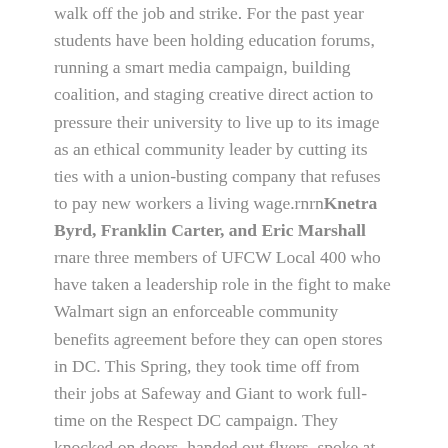walk off the job and strike. For the past year students have been holding education forums, running a smart media campaign, building coalition, and staging creative direct action to pressure their university to live up to its image as an ethical community leader by cutting its ties with a union-busting company that refuses to pay new workers a living wage.rnrnKnetra Byrd, Franklin Carter, and Eric Marshall rnare three members of UFCW Local 400 who have taken a leadership role in the fight to make Walmart sign an enforceable community benefits agreement before they can open stores in DC. This Spring, they took time off from their jobs at Safeway and Giant to work full-time on the Respect DC campaign. They knocked on doors, handed out flyers, spoke at rallies